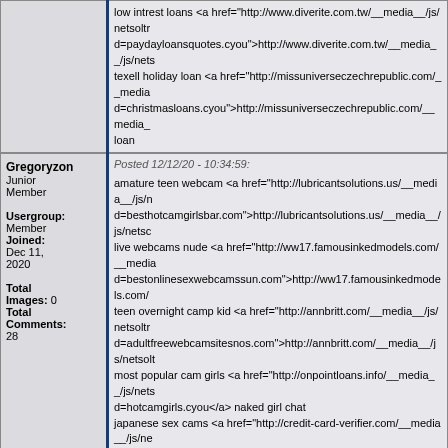|  | low intrest loans <a href="http://www.diverite.com.tw/__media__/js/netsoltrademark.php?d=paydayloansquotes.cyou">http://www.diverite.com.tw/__media__/js/netsoltrademark... texell holiday loan <a href="http://missuniverseczechrepublic.com/__media__/js/netsoltrademark.php?d=christmasloans.cyou">http://missuniverseczechrepublic.com/__media__... loan |
| Gregoryzon
Junior Member

Usergroup: Member
Joined: Dec 11, 2020

Total Images: 0
Total Comments: 28 | Posted 12/12/20 - 10:34:59:

amature teen webcam ... vr sex cams ... |